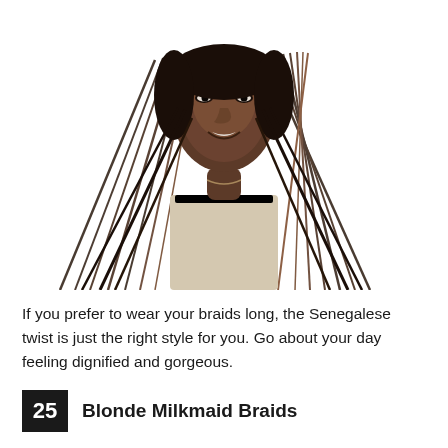[Figure (photo): A woman with long Senegalese twist braids, dark at the roots fading to brown/auburn at the tips, wearing a light beige strapless top, smiling, photographed against a white background.]
If you prefer to wear your braids long, the Senegalese twist is just the right style for you. Go about your day feeling dignified and gorgeous.
25  Blonde Milkmaid Braids